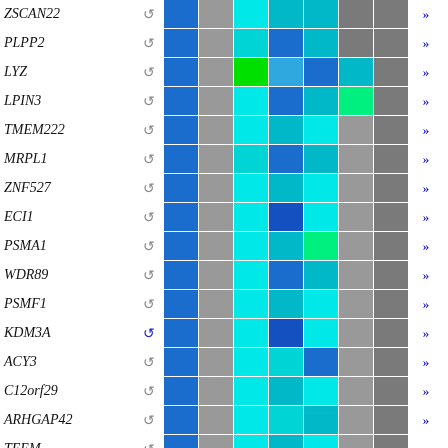[Figure (other): Gene expression heatmap table showing 16 genes (ZSCAN22, PLPP2, LYZ, LPIN3, TMEM222, MRPL1, ZNF527, ECI1, PSMA1, WDR89, PSMF1, KDM3A, ACY3, C12orf29, ARHGAP42, TEEM) with colored cells representing expression levels across multiple conditions/samples. Colors range from blue to cyan to green indicating different expression intensities, with gray cells for no/low expression. Each row has a gene name in italic, a recycle/reset icon, colored cells, and a double-arrow navigation button.]